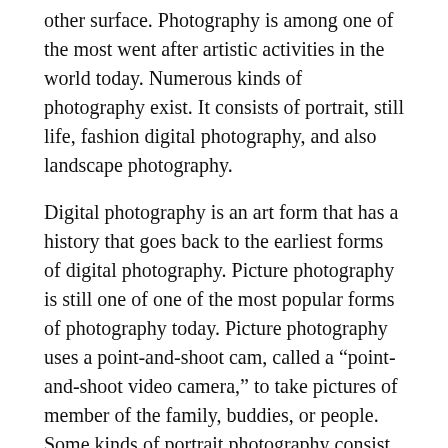other surface. Photography is among one of the most went after artistic activities in the world today. Numerous kinds of photography exist. It consists of portrait, still life, fashion digital photography, and also landscape photography.
Digital photography is an art form that has a history that goes back to the earliest forms of digital photography. Picture photography is still one of one of the most popular forms of photography today. Picture photography uses a point-and-shoot cam, called a “point-and-shoot video camera,” to take pictures of member of the family, buddies, or people. Some kinds of portrait photography consist of; group pictures, style shots, infant pictures, undersea shots and also study in still life photographs.
Shutter speed, aperture, lighting and also the mix